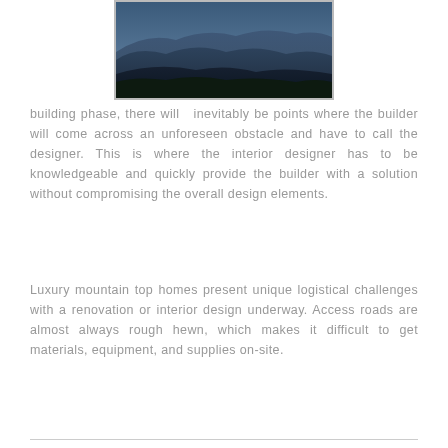[Figure (photo): Aerial landscape photo of mountain ridges in blue haze with dark forested foreground, framed with a light gray border.]
building phase, there will  inevitably be points where the builder will come across an unforeseen obstacle and have to call the designer. This is where the interior designer has to be knowledgeable and quickly provide the builder with a solution without compromising the overall design elements.
Luxury mountain top homes present unique logistical challenges with a renovation or interior design underway. Access roads are almost always rough hewn, which makes it difficult to get materials, equipment, and supplies on-site.